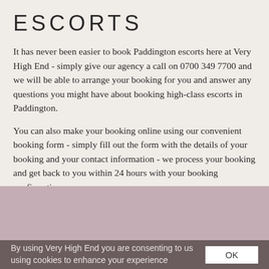ESCORTS
It has never been easier to book Paddington escorts here at Very High End - simply give our agency a call on 0700 349 7700 and we will be able to arrange your booking for you and answer any questions you might have about booking high-class escorts in Paddington.
You can also make your booking online using our convenient booking form - simply fill out the form with the details of your booking and your contact information - we process your booking and get back to you within 24 hours with your booking confirmation.
By using Very High End you are consenting to us using cookies to enhance your experience